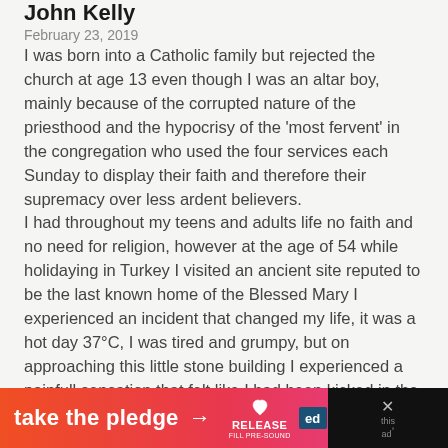John Kelly
February 23, 2019
I was born into a Catholic family but rejected the church at age 13 even though I was an altar boy, mainly because of the corrupted nature of the priesthood and the hypocrisy of the 'most fervent' in the congregation who used the four services each Sunday to display their faith and therefore their supremacy over less ardent believers.
I had throughout my teens and adults life no faith and no need for religion, however at the age of 54 while holidaying in Turkey I visited an ancient site reputed to be the last known home of the Blessed Mary I experienced an incident that changed my life, it was a hot day 37°C, I was tired and grumpy, but on approaching this little stone building I experienced a painfull sensation that felt like I had been kicked in the stomach, all
take the pledge →